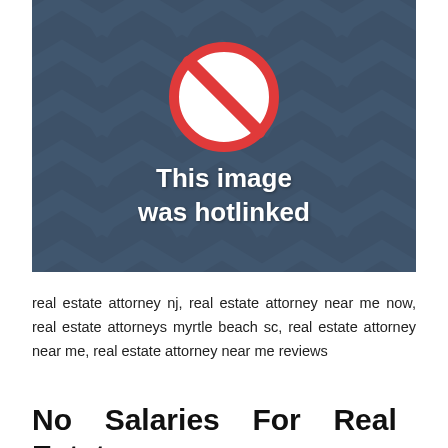[Figure (illustration): Hotlinked image placeholder: dark blue-grey background with diagonal chevron pattern, a red 'no' symbol (circle with diagonal slash), and white text reading 'This image was hotlinked']
real estate attorney nj, real estate attorney near me now, real estate attorneys myrtle beach sc, real estate attorney near me, real estate attorney near me reviews
No Salaries For Real Estate